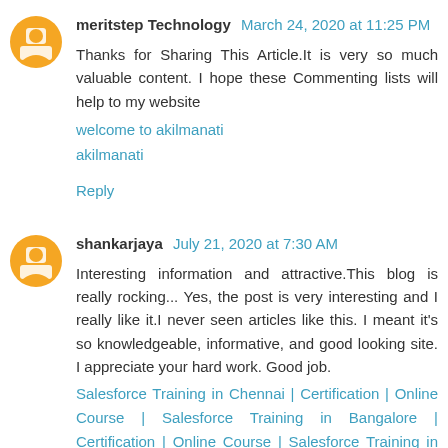meritstep Technology March 24, 2020 at 11:25 PM
Thanks for Sharing This Article.It is very so much valuable content. I hope these Commenting lists will help to my website
welcome to akilmanati
akilmanati
Reply
shankarjaya July 21, 2020 at 7:30 AM
Interesting information and attractive.This blog is really rocking... Yes, the post is very interesting and I really like it.I never seen articles like this. I meant it's so knowledgeable, informative, and good looking site. I appreciate your hard work. Good job.
Salesforce Training in Chennai | Certification | Online Course | Salesforce Training in Bangalore | Certification | Online Course | Salesforce Training in Hyderabad |